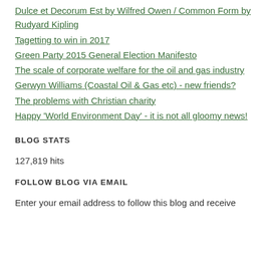Dulce et Decorum Est by Wilfred Owen / Common Form by Rudyard Kipling
Tagetting to win in 2017
Green Party 2015 General Election Manifesto
The scale of corporate welfare for the oil and gas industry
Gerwyn Williams (Coastal Oil & Gas etc) - new friends?
The problems with Christian charity
Happy 'World Environment Day' - it is not all gloomy news!
BLOG STATS
127,819 hits
FOLLOW BLOG VIA EMAIL
Enter your email address to follow this blog and receive